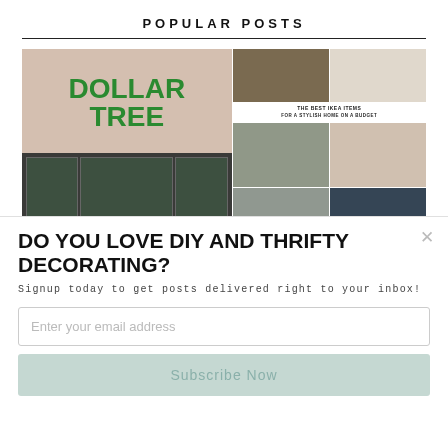POPULAR POSTS
[Figure (photo): Collage of two images: left shows Dollar Tree store exterior with green lettering; right shows a grid of IKEA items for a stylish home on a budget. A 'POWERED BY SUMO' badge overlays the bottom center.]
DO YOU LOVE DIY AND THRIFTY DECORATING?
Signup today to get posts delivered right to your inbox!
Enter your email address
Subscribe Now